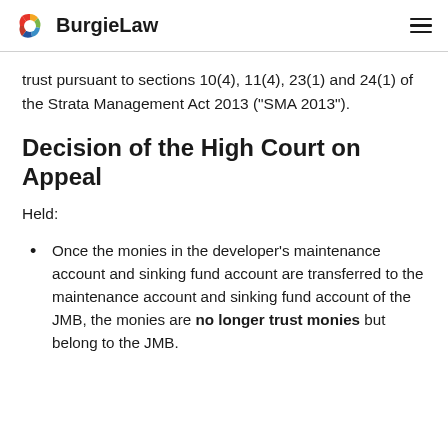BurgieLaw
trust pursuant to sections 10(4), 11(4), 23(1) and 24(1) of the Strata Management Act 2013 (“SMA 2013”).
Decision of the High Court on Appeal
Held:
Once the monies in the developer’s maintenance account and sinking fund account are transferred to the maintenance account and sinking fund account of the JMB, the monies are no longer trust monies but belong to the JMB.